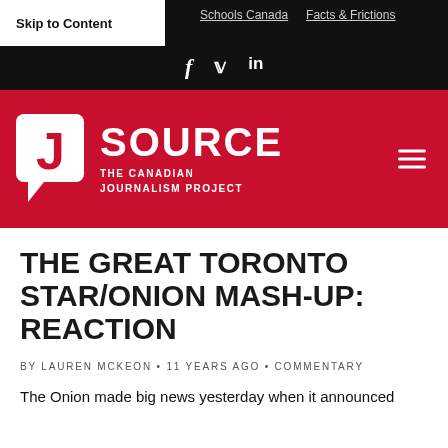Skip to Content   Schools Canada   Facts & Frictions   f  tw  in
[Figure (logo): J Source — The Canadian Journalism Project logo on red background with hamburger menu icon]
THE GREAT TORONTO STAR/ONION MASH-UP: REACTION
BY LAUREN MCKEON • 11 YEARS AGO • COMMENTARY
The Onion made big news yesterday when it announced